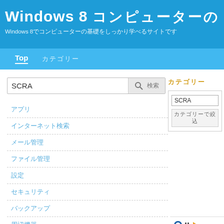Windows 8 コンピューターの基礎
Windows 8でコンピューターの基礎をしっかり学べるサイトです
Top　カテゴリー
[Figure (screenshot): Search box with 'SCRA' typed in and search/filter buttons on the right]
アプリ
インターネット検索
メール管理
ファイル管理
設定
セキュリティ
バックアップ
周辺機器
[Figure (screenshot): Right sidebar with orange heading text, a form input showing 'SCRA', and a secondary button with Japanese text]
[Figure (screenshot): Media player control bar at bottom right with circle, pause, and play triangle icons]